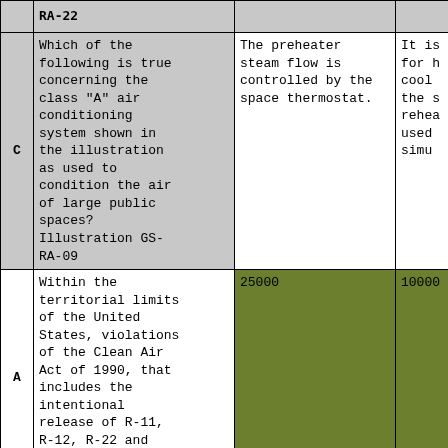|  | Question | Answer 1 | Answer 2 |
| --- | --- | --- | --- |
|  | RA-22 |  |  |
| C | Which of the following is true concerning the class "A" air conditioning system shown in the illustration as used to condition the air of large public spaces?
Illustration GS-RA-09 | The preheater steam flow is controlled by the space thermostat. | It is...(truncated) |
| A | Within the territorial limits of the United States, violations of the Clean Air Act of 1990, that includes the intentional release of R-11, R-12, R-22 and other related... | 25000 | 10000... |